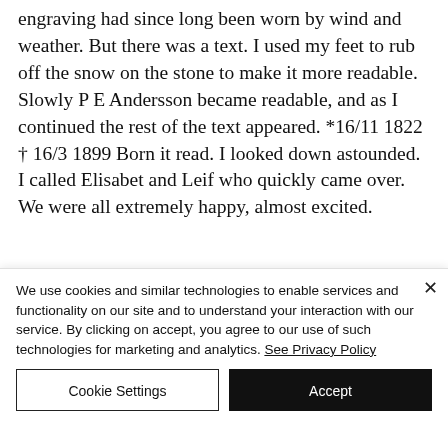engraving had since long been worn by wind and weather. But there was a text. I used my feet to rub off the snow on the stone to make it more readable. Slowly P E Andersson became readable, and as I continued the rest of the text appeared. *16/11 1822 † 16/3 1899 Born it read. I looked down astounded. I called Elisabet and Leif who quickly came over. We were all extremely happy, almost excited.
We use cookies and similar technologies to enable services and functionality on our site and to understand your interaction with our service. By clicking on accept, you agree to our use of such technologies for marketing and analytics. See Privacy Policy
Cookie Settings
Accept